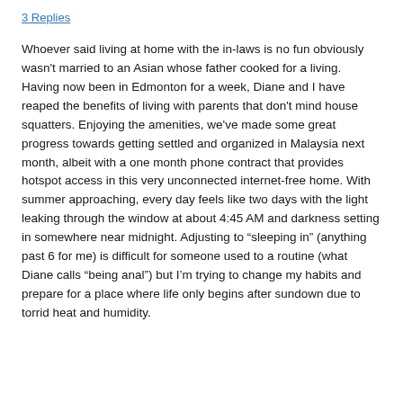3 Replies
Whoever said living at home with the in-laws is no fun obviously wasn't married to an Asian whose father cooked for a living. Having now been in Edmonton for a week, Diane and I have reaped the benefits of living with parents that don't mind house squatters. Enjoying the amenities, we've made some great progress towards getting settled and organized in Malaysia next month, albeit with a one month phone contract that provides hotspot access in this very unconnected internet-free home. With summer approaching, every day feels like two days with the light leaking through the window at about 4:45 AM and darkness setting in somewhere near midnight. Adjusting to “sleeping in” (anything past 6 for me) is difficult for someone used to a routine (what Diane calls “being anal”) but I’m trying to change my habits and prepare for a place where life only begins after sundown due to torrid heat and humidity.